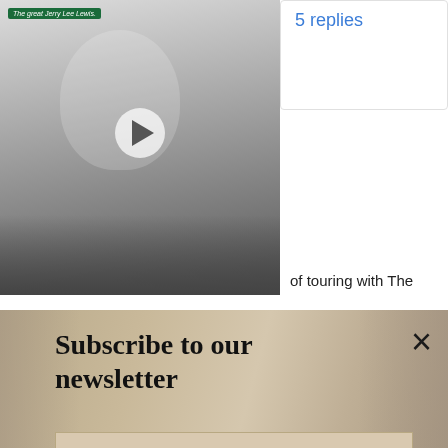[Figure (photo): Black and white video thumbnail of a smiling young man (The great Jerry Lee Lewis), with a play button overlay and a green label reading 'The great Jerry Lee Lewis.']
5 replies
We had the pleasure of touring with The
[Figure (screenshot): Newsletter subscription banner with sandy/stone texture background. Title: 'Subscribe to our newsletter'. Email input field labeled 'Your e-mail address' with a 'SIGN UP' button. Close (×) button in top right.]
— The Wytches (@TheWytches) July 31, 2018
[Figure (illustration): Wavy decorative line across page width with a close (×) circle button on the right side.]
[Figure (screenshot): Advertisement bar: Petco logo, navigation arrows, text 'Your Pet's Summer Essentials Petco', blue diamond arrow icon on right.]